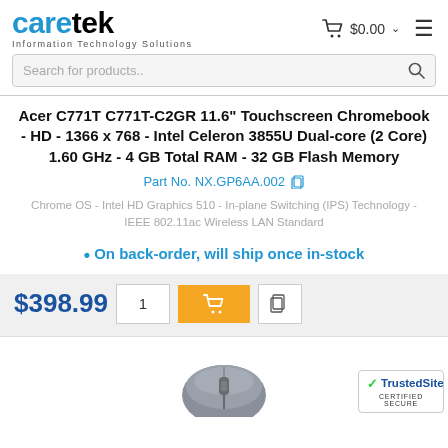caretek - Information Technology Solutions
Acer C771T C771T-C2GR 11.6" Touchscreen Chromebook - HD - 1366 x 768 - Intel Celeron 3855U Dual-core (2 Core) 1.60 GHz - 4 GB Total RAM - 32 GB Flash Memory
Part No. NX.GP6AA.002
Chrome OS - Intel HD Graphics 510 - In-plane Switching (IPS) Technology - IEEE 802.11ac Wireless LAN Standard
• On back-order, will ship once in-stock
$398.99
[Figure (photo): Computer mouse shown at bottom of page]
[Figure (logo): TrustedSite CERTIFIED SECURE badge]